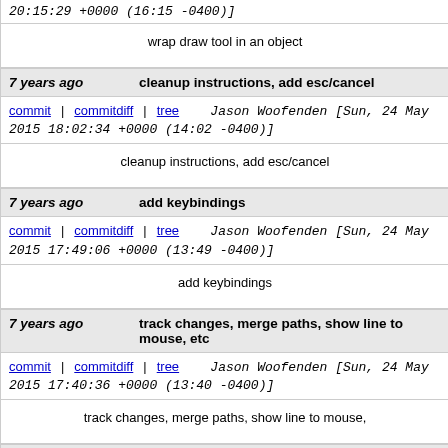20:15:29 +0000 (16:15 -0400)]
wrap draw tool in an object
7 years ago    cleanup instructions, add esc/cancel
commit | commitdiff | tree    Jason Woofenden [Sun, 24 May 2015 18:02:34 +0000 (14:02 -0400)]
cleanup instructions, add esc/cancel
7 years ago    add keybindings
commit | commitdiff | tree    Jason Woofenden [Sun, 24 May 2015 17:49:06 +0000 (13:49 -0400)]
add keybindings
7 years ago    track changes, merge paths, show line to mouse, etc
commit | commitdiff | tree    Jason Woofenden [Sun, 24 May 2015 17:40:36 +0000 (13:40 -0400)]
track changes, merge paths, show line to mouse,
7 years ago    improve instructions